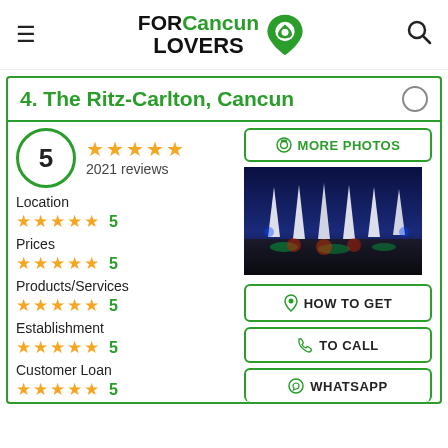[Figure (logo): FOR Cancun LOVERS logo with green map pin icon]
4. The Ritz-Carlton, Cancun
5 stars, 2021 reviews
Location ★★★★★ 5
Prices ★★★★★ 5
Products/Services ★★★★★ 5
Establishment ★★★★★ 5
Customer Loan ★★★★★ 5
[Figure (photo): Night beach scene at The Ritz-Carlton Cancun with illuminated table settings and white fabric draped structures on beach]
MORE PHOTOS
HOW TO GET
TO CALL
WHATSAPP